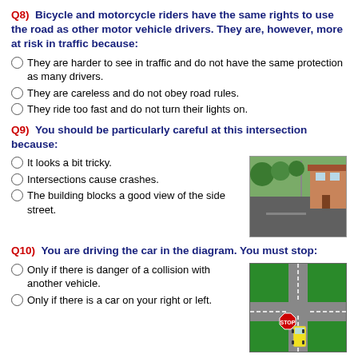Q8) Bicycle and motorcycle riders have the same rights to use the road as other motor vehicle drivers. They are, however, more at risk in traffic because:
They are harder to see in traffic and do not have the same protection as many drivers.
They are careless and do not obey road rules.
They ride too fast and do not turn their lights on.
Q9) You should be particularly careful at this intersection because:
It looks a bit tricky.
Intersections cause crashes.
The building blocks a good view of the side street.
[Figure (photo): Photo of an intersection with a building on the right side blocking the view of the side street, road visible, trees in background.]
Q10) You are driving the car in the diagram. You must stop:
Only if there is danger of a collision with another vehicle.
Only if there is a car on your right or left.
[Figure (illustration): Diagram of an intersection with green road areas, grey lanes, a stop sign on the left, and a yellow car stopped at the intersection.]